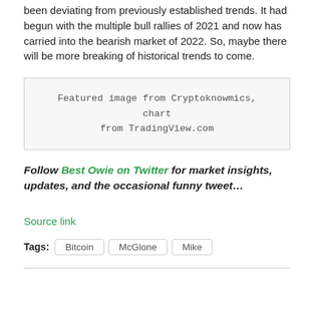been deviating from previously established trends. It had begun with the multiple bull rallies of 2021 and now has carried into the bearish market of 2022. So, maybe there will be more breaking of historical trends to come.
Featured image from Cryptoknowmics, chart from TradingView.com
Follow Best Owie on Twitter for market insights, updates, and the occasional funny tweet...
Source link
Tags: Bitcoin McGlone Mike